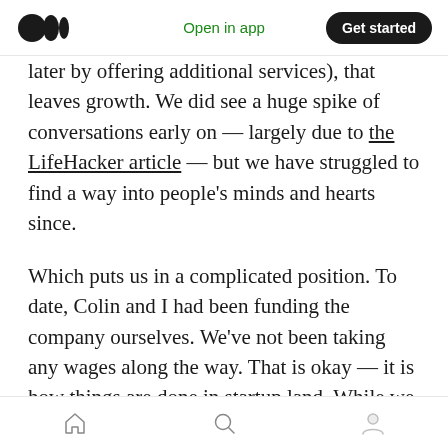Medium logo | Open in app | Get started
later by offering additional services), that leaves growth. We did see a huge spike of conversations early on — largely due to the LifeHacker article — but we have struggled to find a way into people's minds and hearts since.

Which puts us in a complicated position. To date, Colin and I had been funding the company ourselves. We've not been taking any wages along the way. That is okay — it is how things are done in startup land. While we were able to keep costs down on many things, there was one unavoidable cost: Lawyers. LifeFolder's product
Home | Search | Profile